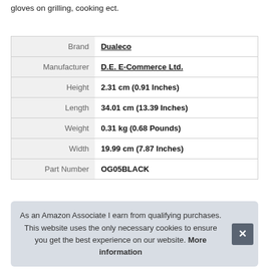gloves on grilling, cooking ect.
| Field | Value |
| --- | --- |
| Brand | Dualeco |
| Manufacturer | D.E. E-Commerce Ltd. |
| Height | 2.31 cm (0.91 Inches) |
| Length | 34.01 cm (13.39 Inches) |
| Weight | 0.31 kg (0.68 Pounds) |
| Width | 19.99 cm (7.87 Inches) |
| Part Number | OG05BLACK |
As an Amazon Associate I earn from qualifying purchases. This website uses the only necessary cookies to ensure you get the best experience on our website. More information